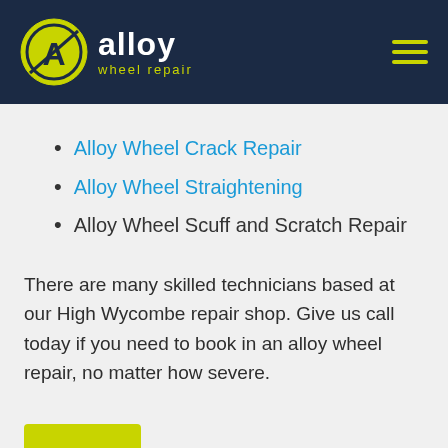[Figure (logo): Alloy Wheel Repair logo with yellow circular 'A' emblem, white 'alloy' text and yellow 'wheel repair' subtext on dark navy background, with yellow hamburger menu icon on the right]
Alloy Wheel Crack Repair
Alloy Wheel Straightening
Alloy Wheel Scuff and Scratch Repair
There are many skilled technicians based at our High Wycombe repair shop. Give us call today if you need to book in an alloy wheel repair, no matter how severe.